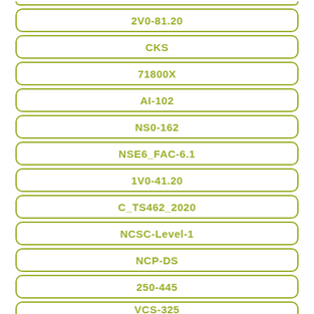2V0-81.20
CKS
71800X
AI-102
NS0-162
NSE6_FAC-6.1
1V0-41.20
C_TS462_2020
NCSC-Level-1
NCP-DS
250-445
VCS-325